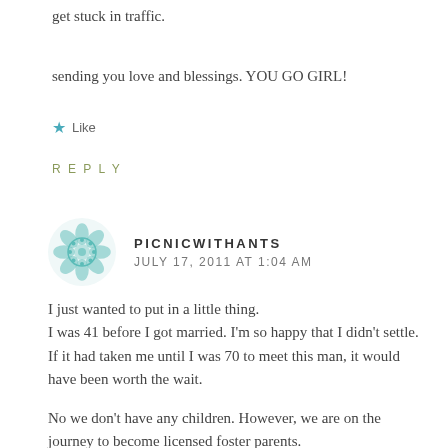get stuck in traffic.
sending you love and blessings. YOU GO GIRL!
★ Like
REPLY
PICNICWITHANTS
JULY 17, 2011 AT 1:04 AM
I just wanted to put in a little thing.
I was 41 before I got married. I'm so happy that I didn't settle. If it had taken me until I was 70 to meet this man, it would have been worth the wait.
No we don't have any children. However, we are on the journey to become licensed foster parents.